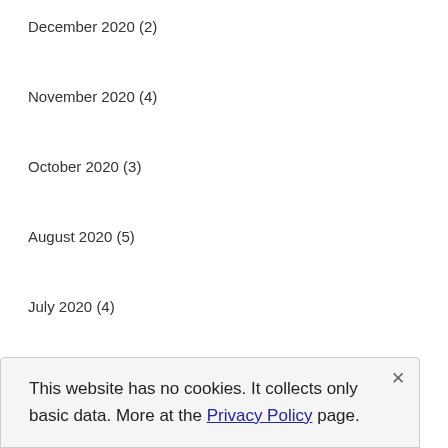December 2020 (2)
November 2020 (4)
October 2020 (3)
August 2020 (5)
July 2020 (4)
June 2020 (1)
This website has no cookies. It collects only basic data. More at the Privacy Policy page.